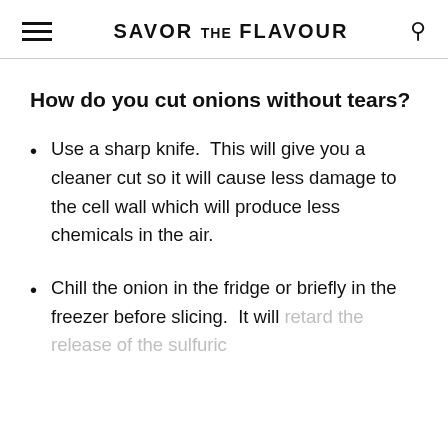SAVOR THE FLAVOUR
How do you cut onions without tears?
Use a sharp knife.  This will give you a cleaner cut so it will cause less damage to the cell wall which will produce less chemicals in the air.
Chill the onion in the fridge or briefly in the freezer before slicing.  It will retard the release of the sulfuric